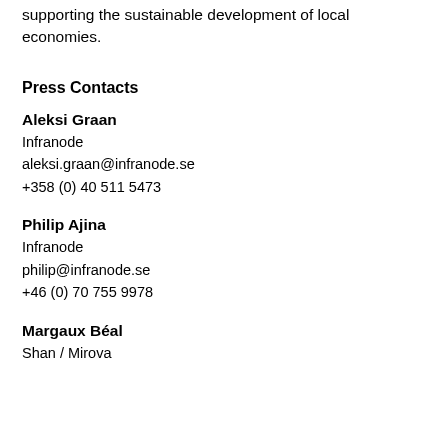supporting the sustainable development of local economies.
Press Contacts
Aleksi Graan
Infranode
aleksi.graan@infranode.se
+358 (0) 40 511 5473
Philip Ajina
Infranode
philip@infranode.se
+46 (0) 70 755 9978
Margaux Béal
Shan / Mirova